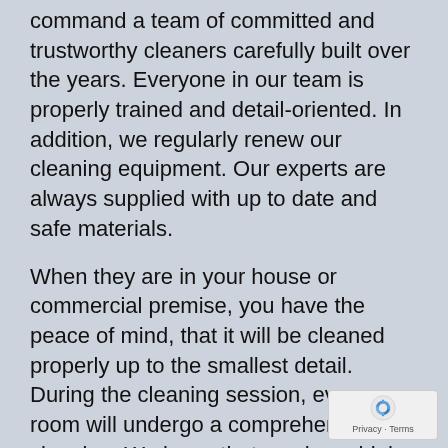command a team of committed and trustworthy cleaners carefully built over the years. Everyone in our team is properly trained and detail-oriented. In addition, we regularly renew our cleaning equipment. Our experts are always supplied with up to date and safe materials.
When they are in your house or commercial premise, you have the peace of mind, that it will be cleaned properly up to the smallest detail. During the cleaning session, every room will undergo a comprehensive cleaning. We know that you have high expectations and it is our mission to meet them.
Whether it goes about the annual deep cleaning, after party clean up or office sanitation, our company is your best alternative for professional cleaning in the neighbourhood. You only need to specify your requirements and leave the rest to our disciplined cleaners. Give us a call and require more information.
[Figure (logo): reCAPTCHA widget showing a recycling-style arrow logo with 'Privacy - Terms' text below]